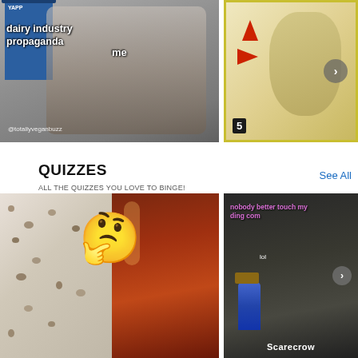[Figure (photo): Meme photo showing person crouching near blue trash bins with text 'dairy industry propaganda' and 'me', watermark @totallyveganbuzz]
[Figure (illustration): Instructional diagram step 5 showing arrows pointing up and right near a person's head with what appears to be an ear/tool illustration, yellow border]
QUIZZES
ALL THE QUIZZES YOU LOVE TO BINGE!
See All
[Figure (photo): Quiz thumbnail showing beans/legumes on left side, a thinking emoji in center, and a bottle of amber/red liquid (syrup or vinegar) on right side]
[Figure (photo): Meme image in black and white showing a scarecrow figure with text 'nobody better touch my ding com' in purple/pink and 'lol' in white, with 'Scarecrow' label at bottom]